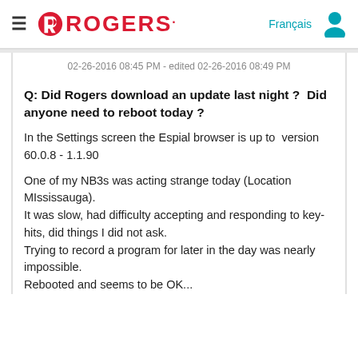ROGERS. Français [user icon]
02-26-2016 08:45 PM - edited 02-26-2016 08:49 PM
Q: Did Rogers download an update last night ?  Did anyone need to reboot today ?
In the Settings screen the Espial browser is up to  version 60.0.8 - 1.1.90
One of my NB3s was acting strange today (Location MIssissauga).
It was slow, had difficulty accepting and responding to key-hits, did things I did not ask.
Trying to record a program for later in the day was nearly impossible.
Rebooted and seems to be OK...